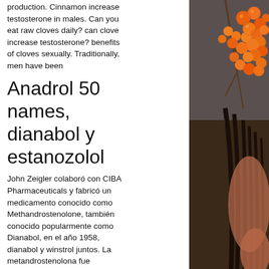production. Cinnamon increase testosterone in males. Can you eat raw cloves daily? can clove increase testosterone? benefits of cloves sexually. Traditionally, men have been
Anadrol 50 names, dianabol y estanozolol
John Zeigler colaboró con CIBA Pharmaceuticals y fabricó un medicamento conocido como Methandrostenolone, también conocido popularmente como Dianabol, en el año 1958, dianabol y winstrol juntos. La metandrostenolona fue diseñada para ser una droga de acción rápida que tenía la capacidad de mantener el cuerpo humano en un estado anabólico sostenido, reduciendo simultáneamente los riesgos asociados con los efectos androgénicos del esteroide, como el acné y la calvicie de patrón masculino. Cuando los atletas de EE. Comenzaron a usar Dianabol, todos se adelantaron a sus contrapartes en el
[Figure (photo): Photo of a person with long dark hair holding a bunch of orange berries/fruits, against a dark gray background. The person's face is not visible. The berries are orange and clustered together on stems.]